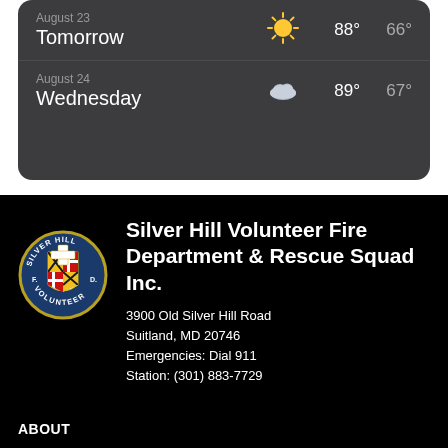[Figure (screenshot): Weather forecast card showing two days: August 23 Tomorrow with sunny icon 88° 66°, and August 24 Wednesday with cloudy icon 89° 67°]
[Figure (logo): Silver Hill Volunteer Fire Department badge/seal - circular badge with blue border, shield in center with Maryland flag colors, text reads SILVER HILL F.D. VOLUNTEER]
Silver Hill Volunteer Fire Department & Rescue Squad Inc.
3900 Old Silver Hill Road
Suitland, MD 20746
Emergencies: Dial 911
Station: (301) 883-7729
ABOUT